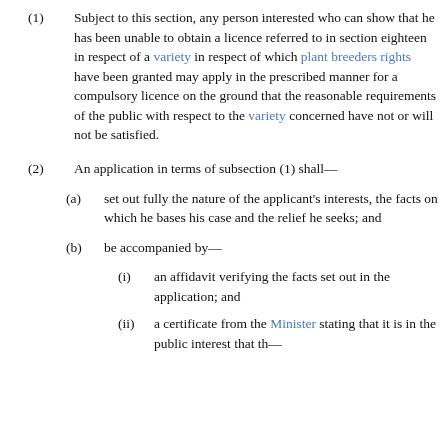(1) Subject to this section, any person interested who can show that he has been unable to obtain a licence referred to in section eighteen in respect of a variety in respect of which plant breeders rights have been granted may apply in the prescribed manner for a compulsory licence on the ground that the reasonable requirements of the public with respect to the variety concerned have not or will not be satisfied.
(2) An application in terms of subsection (1) shall—
(a) set out fully the nature of the applicant's interests, the facts on which he bases his case and the relief he seeks; and
(b) be accompanied by—
(i) an affidavit verifying the facts set out in the application; and
(ii) a certificate from the Minister stating that it is in the public interest that the